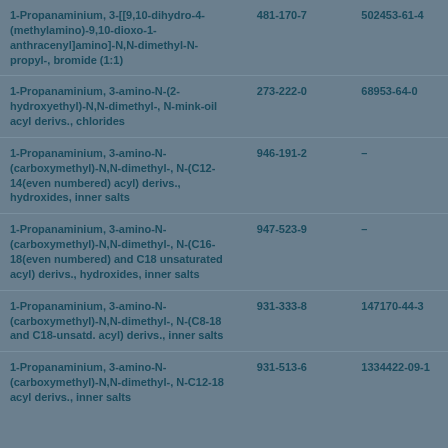| 1-Propanaminium, 3-[[9,10-dihydro-4-(methylamino)-9,10-dioxo-1-anthracenyl]amino]-N,N-dimethyl-N-propyl-, bromide (1:1) | 481-170-7 | 502453-61-4 |
| 1-Propanaminium, 3-amino-N-(2-hydroxyethyl)-N,N-dimethyl-, N-mink-oil acyl derivs., chlorides | 273-222-0 | 68953-64-0 |
| 1-Propanaminium, 3-amino-N-(carboxymethyl)-N,N-dimethyl-, N-(C12-14(even numbered) acyl) derivs., hydroxides, inner salts | 946-191-2 | - |
| 1-Propanaminium, 3-amino-N-(carboxymethyl)-N,N-dimethyl-, N-(C16-18(even numbered) and C18 unsaturated acyl) derivs., hydroxides, inner salts | 947-523-9 | - |
| 1-Propanaminium, 3-amino-N-(carboxymethyl)-N,N-dimethyl-, N-(C8-18 and C18-unsatd. acyl) derivs., inner salts | 931-333-8 | 147170-44-3 |
| 1-Propanaminium, 3-amino-N-(carboxymethyl)-N,N-dimethyl-, N-C12-18 acyl derivs., inner salts | 931-513-6 | 1334422-09-1 |